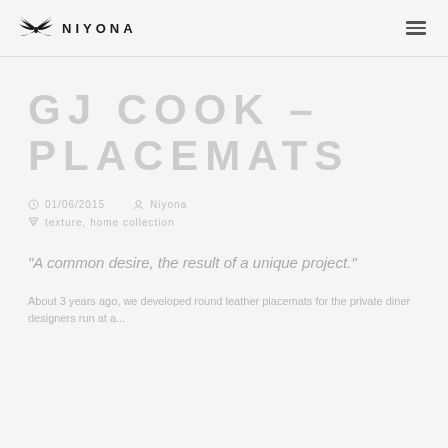NIYONA
GJ COOK – PLACEMATS
01/06/2015  |  Niyona
texture, home collection
"A common desire, the result of a unique project."
About 3 years ago, we developed round leather placemats for the private diner designers run at a...